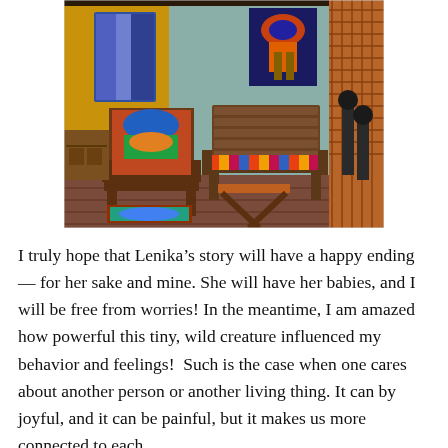[Figure (photo): Interior of a colorful room with wooden furniture: a decorated chair on the left, a wooden bench with a striped multicolor cushion in the center, a small folding wooden stool in front, artworks on the walls including a blue canvas painting on the teal wall and a colorful abstract painting on the yellow wall, and a latticed partition on the right side. Wooden floor.]
I truly hope that Lenika’s story will have a happy ending — for her sake and mine. She will have her babies, and I will be free from worries! In the meantime, I am amazed how powerful this tiny, wild creature influenced my behavior and feelings!  Such is the case when one cares about another person or another living thing. It can by joyful, and it can be painful, but it makes us more connected to each